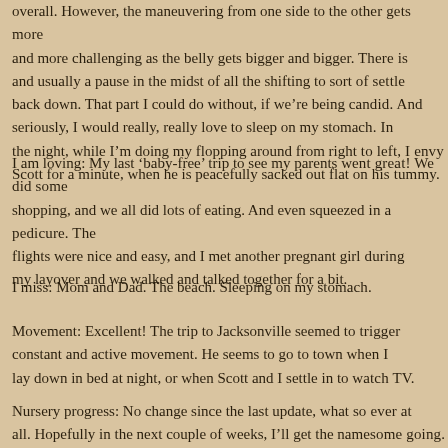overall. However, the maneuvering from one side to the other gets more and more challenging as the belly gets bigger and bigger. There is and usually a pause in the midst of all the shifting to sort of settle back down. That part I could do without, if we're being candid. And seriously, I would really, really love to sleep on my stomach. In the night, while I'm doing my flopping around from right to left, I envy Scott for a minute, when he is peacefully sacked out flat on his tummy.
I am loving: My last 'baby-free' trip to see my parents went great! We did some shopping, and we all did lots of eating. And even squeezed in a pedicure. The flights were nice and easy, and I met another pregnant girl during my layover and we walked and talked together for a bit.
I miss: Mom and Dad. The beach. Sleeping on my stomach.
Movement: Excellent! The trip to Jacksonville seemed to trigger constant and active movement. He seems to go to town when I lay down in bed at night, or when Scott and I settle in to watch TV.
Nursery progress: No change since the last update, what so ever at all. Hopefully in the next couple of weeks, I'll get the nursery going.